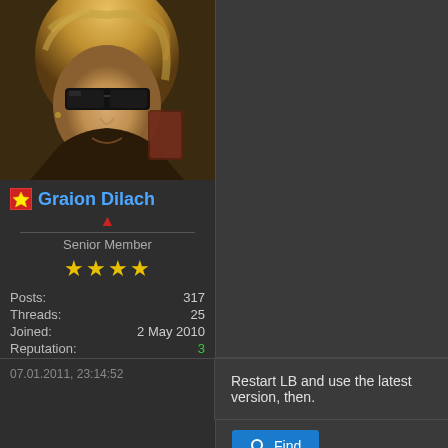[Figure (photo): Avatar photo of Graion Dilach - blonde character with dark sunglasses overlaid]
Graion Dilach
Senior Member
★★★★
Posts: 317
Threads: 25
Joined: 2 May 2010
Reputation: 3
07.01.2011, 23:14:52
Restart LB and use the latest version, then.
Find
[Figure (photo): Default user avatar - grey silhouette on white background]